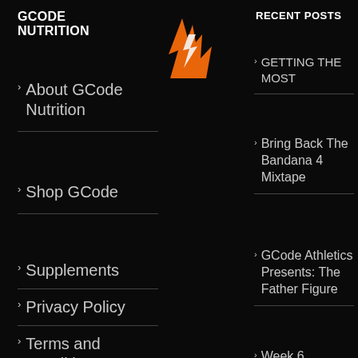GCODE NUTRITION
[Figure (logo): Orange flame/lightning bolt logo icon for GCode Nutrition]
> About GCode Nutrition
> Shop GCode
> Supplements
> Privacy Policy
> Terms and Conditions
RECENT POSTS
> GETTING THE MOST
> Bring Back The Bandana 4 Mixtape
> GCode Athletics Presents: The Father Figure
> Week 6